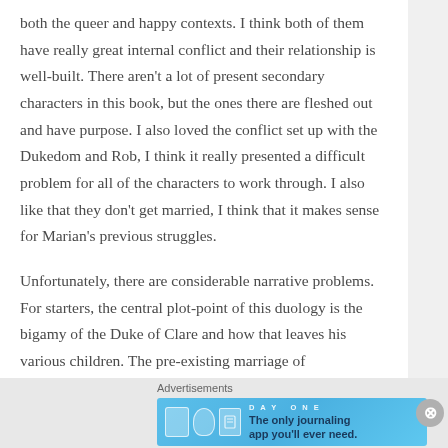both the queer and happy contexts. I think both of them have really great internal conflict and their relationship is well-built. There aren't a lot of present secondary characters in this book, but the ones there are fleshed out and have purpose. I also loved the conflict set up with the Dukedom and Rob, I think it really presented a difficult problem for all of the characters to work through. I also like that they don't get married, I think that it makes sense for Marian's previous struggles.

Unfortunately, there are considerable narrative problems. For starters, the central plot-point of this duology is the bigamy of the Duke of Clare and how that leaves his various children. The pre-existing marriage of
Advertisements
[Figure (infographic): Day One journaling app advertisement banner with blue background, icons of a book, person, and notebook, and text 'The only journaling app you'll ever need.']